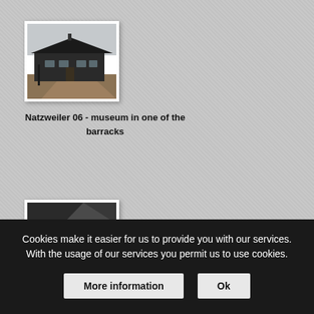[Figure (photo): Exterior photograph of a dark barracks building at Natzweiler, taken from an elevated angle showing the roof and front facade, with flat open ground around it and an overcast sky.]
Natzweiler 06 - museum in one of the barracks
[Figure (photo): Partial view of a second photo, showing a dark angular surface, likely interior or exterior detail of a building at Natzweiler.]
Cookies make it easier for us to provide you with our services. With the usage of our services you permit us to use cookies.
More information
Ok